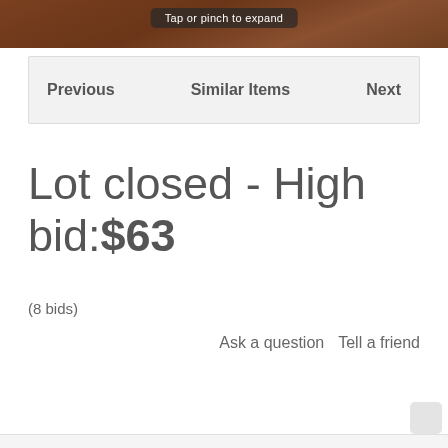[Figure (photo): Top portion of an auction item photo with tap or pinch to expand overlay label]
Previous   Similar Items   Next
Lot closed - High bid:$63
(8 bids)
Ask a question   Tell a friend